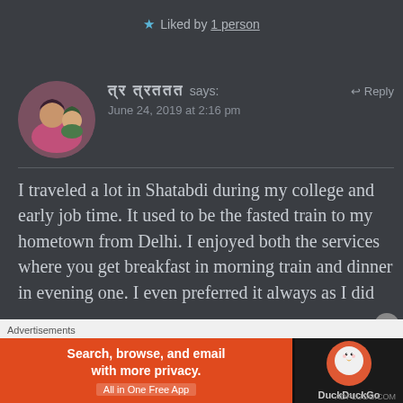★ Liked by 1 person
ठर्राठ ठर्रठठठ says:  ↩ Reply
June 24, 2019 at 2:16 pm
I traveled a lot in Shatabdi during my college and early job time. It used to be the fasted train to my hometown from Delhi. I enjoyed both the services where you get breakfast in morning train and dinner in evening one. I even preferred it always as I did
Advertisements
[Figure (screenshot): DuckDuckGo advertisement banner: orange section with text 'Search, browse, and email with more privacy. All in One Free App', dark section with DuckDuckGo duck logo]